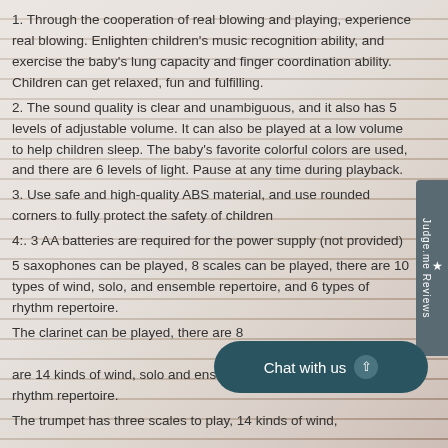1. Through the cooperation of real blowing and playing, experience real blowing. Enlighten children's music recognition ability, and exercise the baby's lung capacity and finger coordination ability. Children can get relaxed, fun and fulfilling.
2. The sound quality is clear and unambiguous, and it also has 5 levels of adjustable volume. It can also be played at a low volume to help children sleep. The baby's favorite colorful colors are used, and there are 6 levels of light. Pause at any time during playback.
3. Use safe and high-quality ABS material, and use rounded corners to fully protect the safety of children
4:. 3 AA batteries are required for the power supply (not provided)
5 saxophones can be played, 8 scales can be played, there are 10 types of wind, solo, and ensemble repertoire, and 6 types of rhythm repertoire.
The clarinet can be played, there are 8 [scales,] are 14 kinds of wind, solo and ensemble [repertoire,] of rhythm repertoire.
The trumpet has three scales to play, 14 kinds of wind,